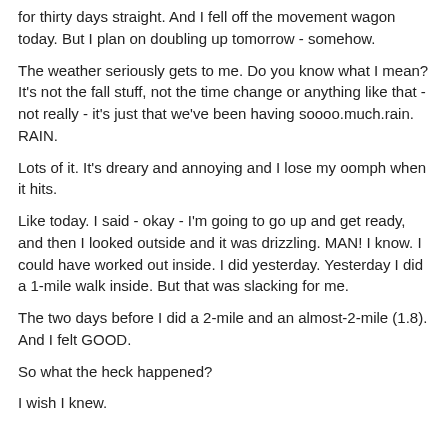for thirty days straight. And I fell off the movement wagon today. But I plan on doubling up tomorrow - somehow.
The weather seriously gets to me. Do you know what I mean? It's not the fall stuff, not the time change or anything like that - not really - it's just that we've been having soooo.much.rain. RAIN.
Lots of it. It's dreary and annoying and I lose my oomph when it hits.
Like today. I said - okay - I'm going to go up and get ready, and then I looked outside and it was drizzling. MAN! I know. I could have worked out inside. I did yesterday. Yesterday I did a 1-mile walk inside. But that was slacking for me.
The two days before I did a 2-mile and an almost-2-mile (1.8). And I felt GOOD.
So what the heck happened?
I wish I knew.